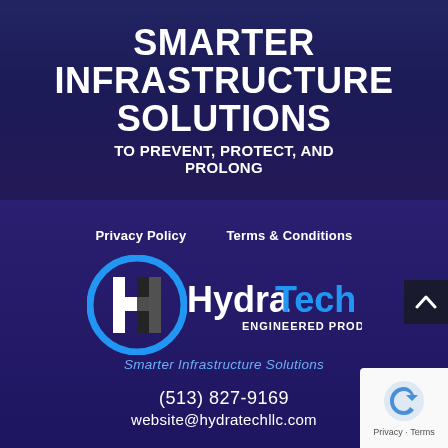SMARTER INFRASTRUCTURE SOLUTIONS
TO PREVENT, PROTECT, AND PROLONG
Privacy Policy   Terms & Conditions
[Figure (logo): HydraTech Engineered Products logo — circular blue and white H emblem with HydraTech Engineered Products text]
Smarter Infrastructure Solutions
(513) 827-9169
website@hydratechllc.com